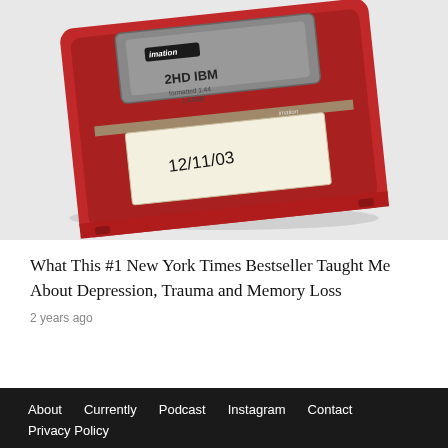[Figure (photo): A red Imation 3.5-inch floppy disk with a metal shutter labeled '2HD IBM' and a white sticker label handwritten with '12/11/03', photographed on a white background.]
What This #1 New York Times Bestseller Taught Me About Depression, Trauma and Memory Loss
2 years ago
About   Currently   Podcast   Instagram   Contact   Privacy Policy